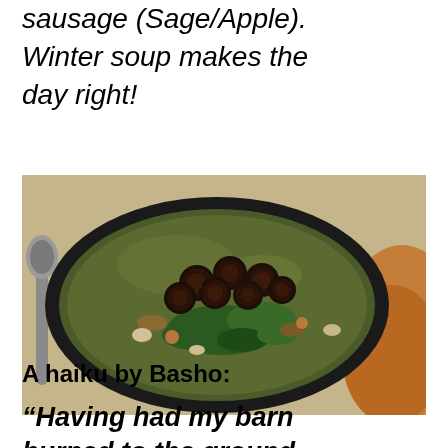sausage (Sage/Apple). Winter soup makes the day right!
[Figure (photo): Overhead photo of a black bowl filled with winter soup containing browned sausage slices, broccoli, greens, beans, and vegetables in a dark broth. A silver spoon is visible to the left and an orange/rust colored cloth napkin is on the right.]
A haiku by Basho:
“Having had my barn burned to the ground